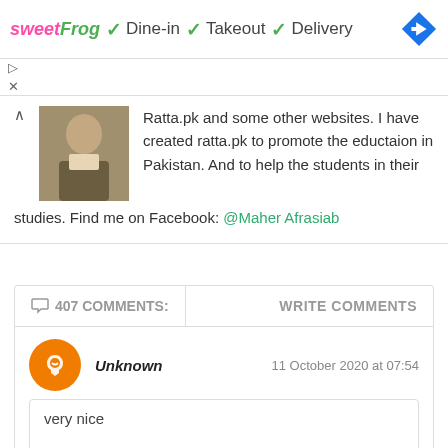[Figure (screenshot): Ad banner with sweetFrog logo and checkmarks for Dine-in, Takeout, Delivery with navigation arrow icon]
Ratta.pk and some other websites. I have created ratta.pk to promote the eductaion in Pakistan. And to help the students in their studies. Find me on Facebook: @Maher Afrasiab
407 COMMENTS: WRITE COMMENTS
Unknown
11 October 2020 at 07:54
very nice